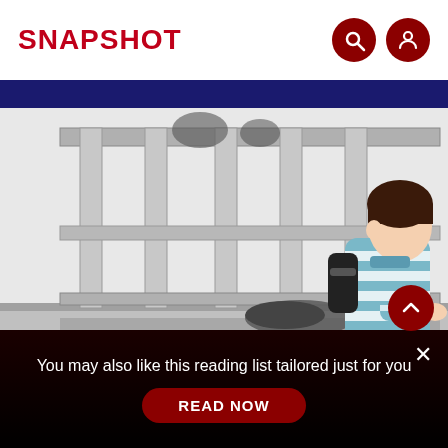SNAPSHOT
[Figure (illustration): Illustration of a person in a blue and white striped sweater kneeling down near a fence or gate, picking up or placing items on the ground. The scene is drawn in a manga/anime style with black, white and grey tones.]
You may also like this reading list tailored just for you
READ NOW